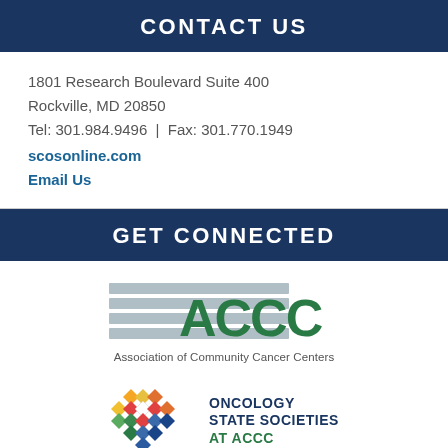CONTACT US
1801 Research Boulevard Suite 400
Rockville, MD 20850
Tel: 301.984.9496 | Fax: 301.770.1949
scosonline.com
Email Us
GET CONNECTED
[Figure (logo): ACCC - Association of Community Cancer Centers logo with horizontal grey bars and green letter marks]
[Figure (logo): Oncology State Societies at ACCC logo with colorful diamond grid pattern and dark blue/green text]